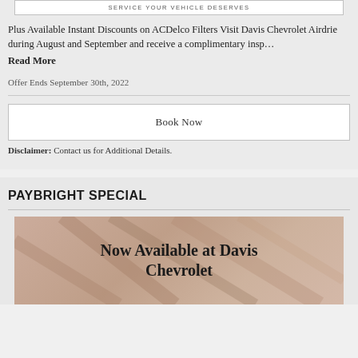[Figure (other): Button/banner with text 'SERVICE YOUR VEHICLE DESERVES']
Plus Available Instant Discounts on ACDelco Filters Visit Davis Chevrolet Airdrie during August and September and receive a complimentary insp...
Read More
Offer Ends September 30th, 2022
Book Now
Disclaimer: Contact us for Additional Details.
PAYBRIGHT SPECIAL
[Figure (photo): Photo with overlay text 'Now Available at Davis Chevrolet']